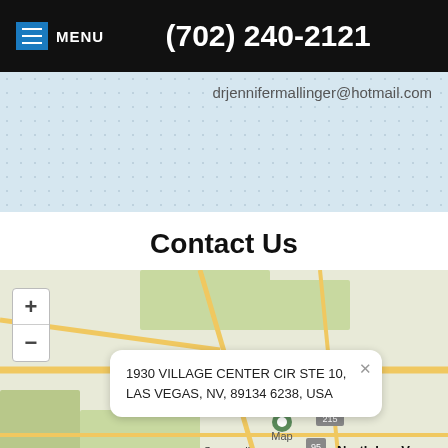MENU  (702) 240-2121
drjennifermallinger@hotmail.com
Contact Us
[Figure (map): Google map showing location near Summerlin/North Las Vegas area with popup showing address: 1930 VILLAGE CENTER CIR STE 10, LAS VEGAS, NV, 89134 6238, USA. Map shows road network with zoom controls (+/-) on the left.]